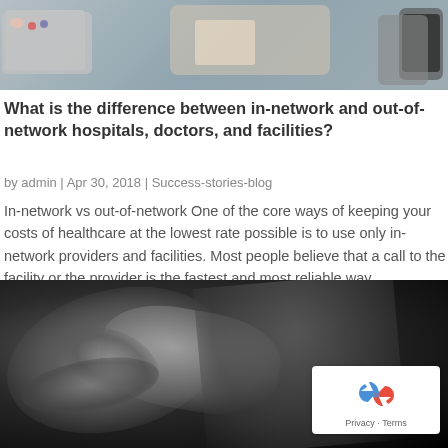[Figure (photo): Top photo showing a desk with medical/office items including a tray, person using a laptop or tablet, and a smartphone, on a blue-gray surface]
What is the difference between in-network and out-of-network hospitals, doctors, and facilities?
by admin | Apr 30, 2018 | Success-stories-blog
In-network vs out-of-network One of the core ways of keeping your costs of healthcare at the lowest rate possible is to use only in-network providers and facilities. Most people believe that a call to the facility or the provider is the fastest and most reliable way...
[Figure (photo): Black and white X-ray image of a spine or neck vertebrae, with a Google reCAPTCHA badge overlay in the bottom right showing the recycling arrow logo and Privacy · Terms links]